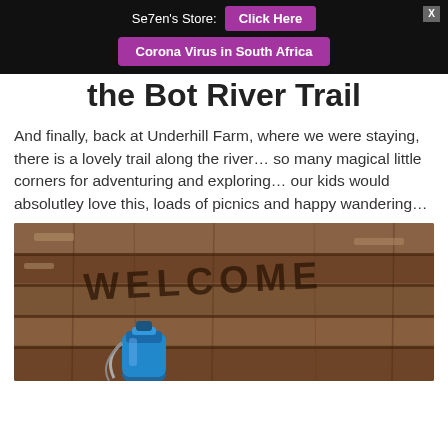Se7en's Store: Click Here | Corona Virus in South Africa
the Bot River Trail
And finally, back at Underhill Farm, where we were staying, there is a lovely trail along the river… so many magical little corners for adventuring and exploring… our kids would absolutley love this, loads of picnics and happy wandering…
[Figure (photo): A wooden bench or sign with 'WELCOME' carved/written into the weathered wood planks, with a blue water bottle visible at the bottom of the frame]